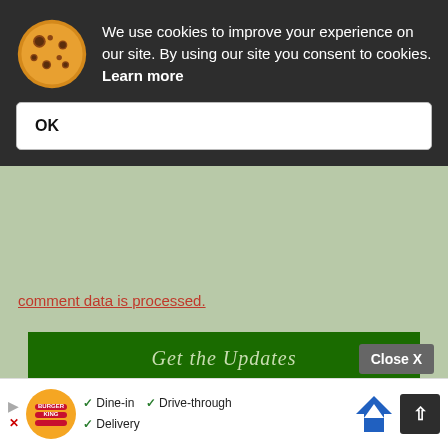We use cookies to improve your experience on our site. By using our site you consent to cookies. Learn more
OK
comment data is processed.
Get the Updates
Sting Here to Subscribe
Search
Close X
Dine-in  Drive-through  Delivery